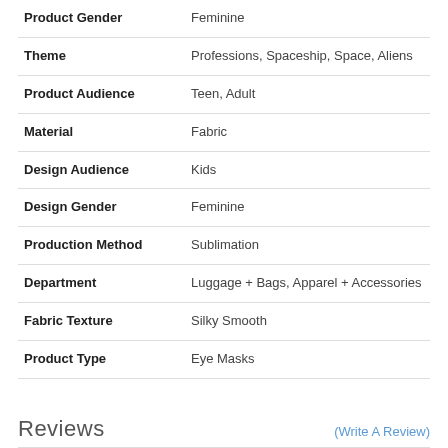| Attribute | Value |
| --- | --- |
| Product Gender | Feminine |
| Theme | Professions, Spaceship, Space, Aliens |
| Product Audience | Teen, Adult |
| Material | Fabric |
| Design Audience | Kids |
| Design Gender | Feminine |
| Production Method | Sublimation |
| Department | Luggage + Bags, Apparel + Accessories |
| Fabric Texture | Silky Smooth |
| Product Type | Eye Masks |
Reviews
(Write A Review)